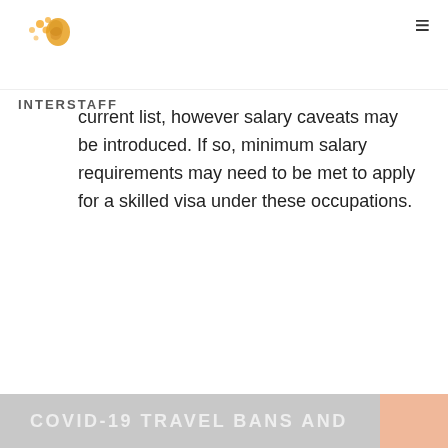INTERSTAFF
current list, however salary caveats may be introduced. If so, minimum salary requirements may need to be met to apply for a skilled visa under these occupations.
SKILLED OCCUPATION LIST CHANGES
COVID-19 TRAVEL BANS AND